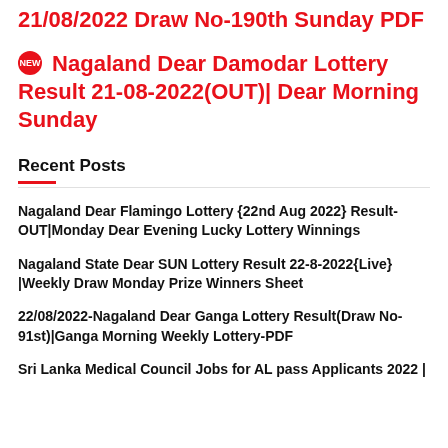21/08/2022 Draw No-190th Sunday PDF
NEW Nagaland Dear Damodar Lottery Result 21-08-2022(OUT)| Dear Morning Sunday
Recent Posts
Nagaland Dear Flamingo Lottery {22nd Aug 2022} Result-OUT|Monday Dear Evening Lucky Lottery Winnings
Nagaland State Dear SUN Lottery Result 22-8-2022{Live} |Weekly Draw Monday Prize Winners Sheet
22/08/2022-Nagaland Dear Ganga Lottery Result(Draw No-91st)|Ganga Morning Weekly Lottery-PDF
Sri Lanka Medical Council Jobs for AL pass Applicants 2022 |